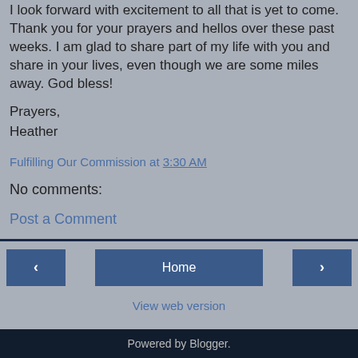I look forward with excitement to all that is yet to come. Thank you for your prayers and hellos over these past weeks. I am glad to share part of my life with you and share in your lives, even though we are some miles away. God bless!
Prayers,
Heather
Fulfilling Our Commission at 3:30 AM
No comments:
Post a Comment
Home | < | > | View web version | Powered by Blogger.